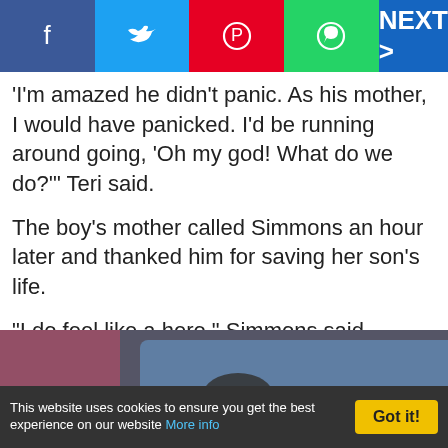Social share bar with Facebook, Twitter, Pinterest, WhatsApp buttons and NEXT > button
'I'm amazed he didn't panic. As his mother, I would have panicked. I'd be running around going, 'Oh my god! What do we do?'" Teri said.
The boy's mother called Simmons an hour later and thanked him for saving her son's life.
"I do feel like a hero," Simmons said.
[Figure (screenshot): Video thumbnail showing two people in red shirts with a play button overlay, security camera footage style]
This website uses cookies to ensure you get the best experience on our website More info